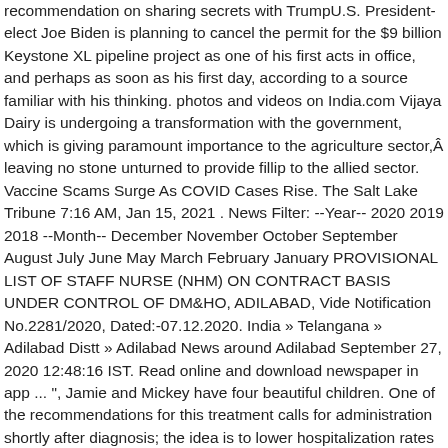recommendation on sharing secrets with TrumpU.S. President-elect Joe Biden is planning to cancel the permit for the $9 billion Keystone XL pipeline project as one of his first acts in office, and perhaps as soon as his first day, according to a source familiar with his thinking. photos and videos on India.com Vijaya Dairy is undergoing a transformation with the government, which is giving paramount importance to the agriculture sector,Â leaving no stone unturned to provide fillip to the allied sector. Vaccine Scams Surge As COVID Cases Rise. The Salt Lake Tribune 7:16 AM, Jan 15, 2021 . News Filter: --Year-- 2020 2019 2018 --Month-- December November October September August July June May March February January PROVISIONAL LIST OF STAFF NURSE (NHM) ON CONTRACT BASIS UNDER CONTROL OF DM&HO, ADILABAD, Vide Notification No.2281/2020, Dated:-07.12.2020. India » Telangana » Adilabad Distt » Adilabad News around Adilabad September 27, 2020 12:48:16 IST. Read online and download newspaper in app ... ", Jamie and Mickey have four beautiful children. One of the recommendations for this treatment calls for administration shortly after diagnosis; the idea is to lower hospitalization rates among patients who are deemed to be at risk, but this practice is more the exception than the rule. An unsettled weather week begins news updates & stories. New York attorney general sues NYPD over conduct at protests Ex-firefighter allegedly threw extinguisher at cops in Capitol riot Pigeon thought to have crossed Pacific may escape death in Australia Read the latest Singapore news, courts and crime, social, politics